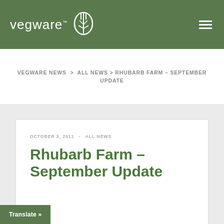Vegware
VEGWARE NEWS > ALL NEWS > RHUBARB FARM – SEPTEMBER UPDATE
OCTOBER 3, 2011  -  ALL NEWS
Rhubarb Farm – September Update
Translate »